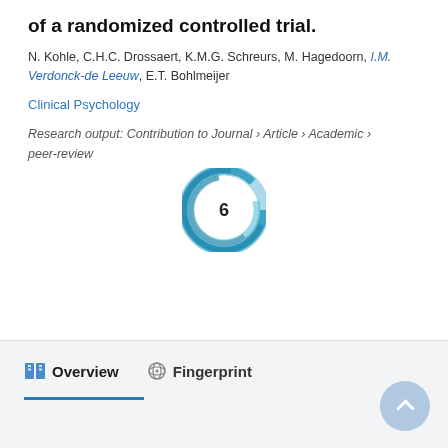of a randomized controlled trial.
N. Kohle, C.H.C. Drossaert, K.M.G. Schreurs, M. Hagedoorn, I.M. Verdonck-de Leeuw, E.T. Bohlmeijer
Clinical Psychology
Research output: Contribution to Journal › Article › Academic › peer-review
[Figure (other): Citation badge showing the number 6, displayed as a circular donut/ring graphic in teal/blue colors with the numeral 6 in the center.]
Overview   Fingerprint